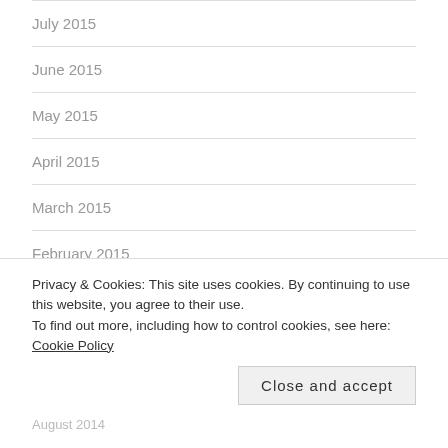July 2015
June 2015
May 2015
April 2015
March 2015
February 2015
January 2015
December 2014
Privacy & Cookies: This site uses cookies. By continuing to use this website, you agree to their use.
To find out more, including how to control cookies, see here: Cookie Policy
Close and accept
August 2014